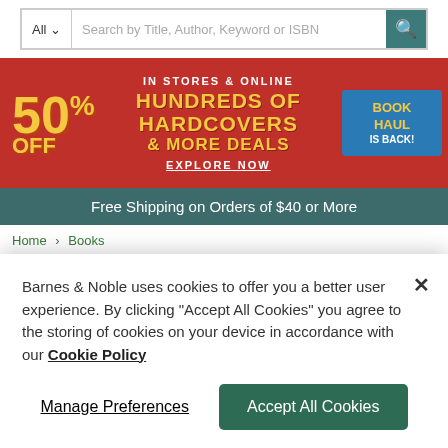[Figure (screenshot): Search bar with 'All' dropdown, text input placeholder 'Search by Title, Author, Keyword or ISBN', and search icon on teal background]
[Figure (infographic): Promotional banner: '50% OFF HUNDREDS OF HARDCOVERS & MORE DEALS — IN STORES & ONLINE — EXPLORE NOW — BOOK HAUL IS BACK!' on red background]
Free Shipping on Orders of $40 or More
Home > Books
The Prophet (PREMIUM
Barnes & Noble uses cookies to offer you a better user experience. By clicking "Accept All Cookies" you agree to the storing of cookies on your device in accordance with our Cookie Policy
Manage Preferences
Accept All Cookies